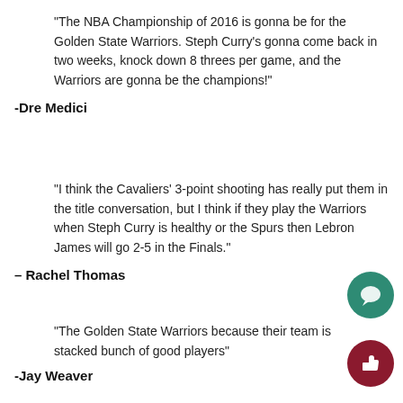“The NBA Championship of 2016 is gonna be for the Golden State Warriors. Steph Curry’s gonna come back in two weeks, knock down 8 threes per game, and the Warriors are gonna be the champions!”
-Dre Medici
“I think the Cavaliers’ 3-point shooting has really put them in the title conversation, but I think if they play the Warriors when Steph Curry is healthy or the Spurs then Lebron James will go 2-5 in the Finals.”
– Rachel Thomas
“The Golden State Warriors because their team is stacked bunch of good players”
-Jay Weaver